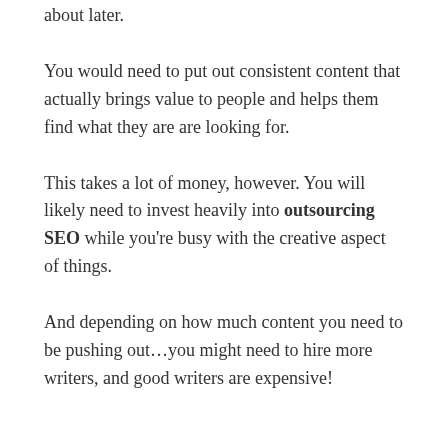about later.
You would need to put out consistent content that actually brings value to people and helps them find what they are are looking for.
This takes a lot of money, however. You will likely need to invest heavily into outsourcing SEO while you're busy with the creative aspect of things.
And depending on how much content you need to be pushing out...you might need to hire more writers, and good writers are expensive!